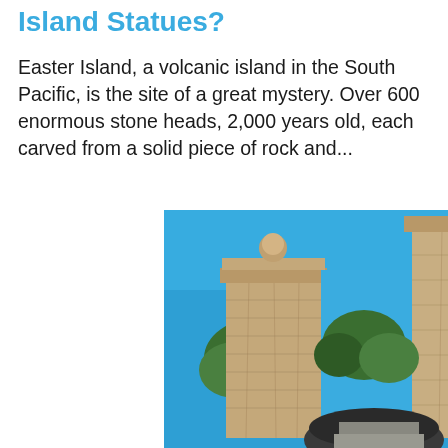Island Statues?
Easter Island, a volcanic island in the South Pacific, is the site of a great mystery. Over 600 enormous stone heads, 2,000 years old, each carved from a solid piece of rock and...
[Figure (photo): Two tall stone pillar gate posts with round finials on top, photographed against a bright blue sky with green trees in the background and a dark dome-shaped structure at the bottom center.]